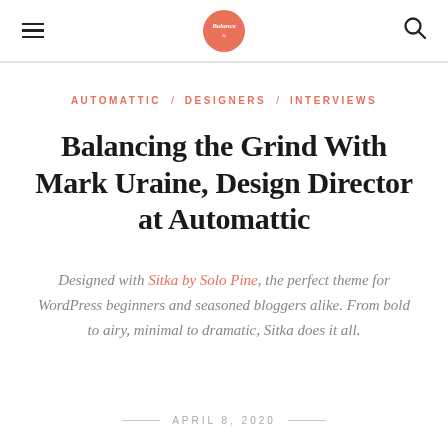Balance — [hamburger menu] [logo] [search icon]
AUTOMATTIC / DESIGNERS / INTERVIEWS
Balancing the Grind With Mark Uraine, Design Director at Automattic
Designed with Sitka by Solo Pine, the perfect theme for WordPress beginners and seasoned bloggers alike. From bold to airy, minimal to dramatic, Sitka does it all.
APRIL 8, 2020